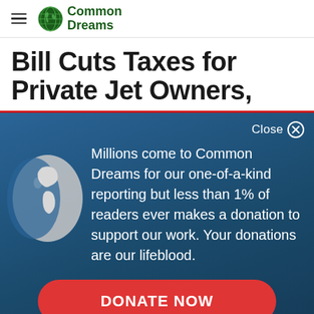Common Dreams
Bill Cuts Taxes for Private Jet Owners,
Millions come to Common Dreams for our one-of-a-kind reporting but less than 1% of readers ever makes a donation to support our work. Your donations are our lifeblood.
DONATE NOW